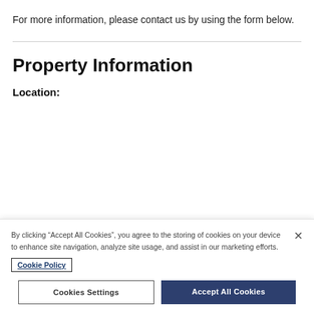For more information, please contact us by using the form below.
Property Information
Location:
By clicking “Accept All Cookies”, you agree to the storing of cookies on your device to enhance site navigation, analyze site usage, and assist in our marketing efforts. Cookie Policy
Cookies Settings
Accept All Cookies